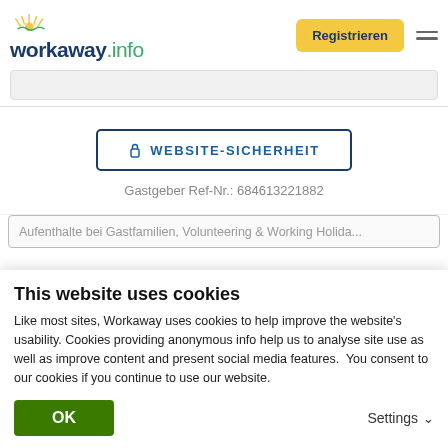workaway.info — Registrieren
[Figure (logo): Workaway.info logo with sun graphic above text]
WEBSITE-SICHERHEIT
Gastgeber Ref-Nr.: 684613221882
Aufenthalte bei Gastfamilien, Volunteering & Working Holida...
This website uses cookies
Like most sites, Workaway uses cookies to help improve the website's usability. Cookies providing anonymous info help us to analyse site use as well as improve content and present social media features.  You consent to our cookies if you continue to use our website.
OK
Settings